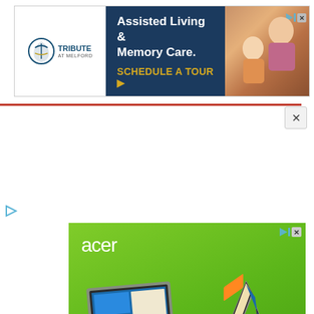[Figure (advertisement): Tribute at Melford assisted living and memory care advertisement with dark navy background, logo on white left panel, headline text, and Schedule a Tour CTA in gold. Photo of elderly person on right side.]
[Figure (advertisement): Acer Spin series laptop advertisement on green gradient background showing two laptop devices in different configurations. Text: acer logo, Spin series, Ultrathin and versatile, LEARN MORE, Windows 11 logo, All things you. All at a glance, always a swipe away.]